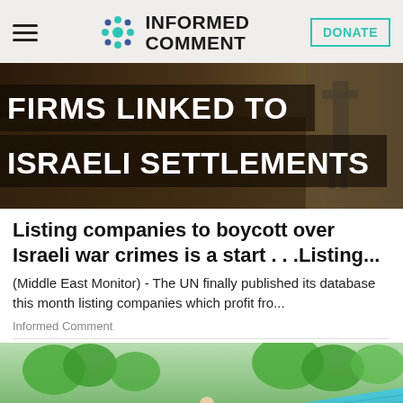Informed Comment — DONATE
[Figure (photo): Article banner with text 'FIRMS LINKED TO ISRAELI SETTLEMENTS' over a dark background with a soldier figure on the right]
Listing companies to boycott over Israeli war crimes is a start . . .Listing...
(Middle East Monitor) - The UN finally published its database this month listing companies which profit fro...
Informed Comment
[Figure (photo): Photo of a person working on a blue metal roof with trees and suburban houses in the background]
556 SHARES — Share buttons: Twitter, Facebook (556), Reddit, Email